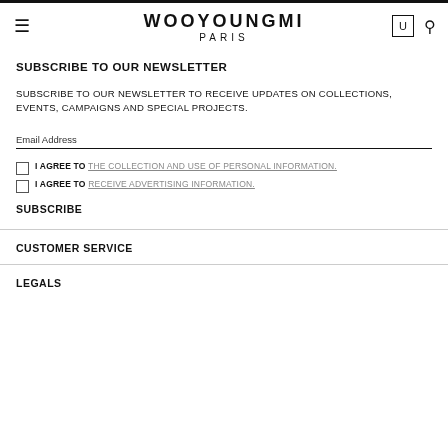WOOYOUNGMI PARIS
SUBSCRIBE TO OUR NEWSLETTER
SUBSCRIBE TO OUR NEWSLETTER TO RECEIVE UPDATES ON COLLECTIONS, EVENTS, CAMPAIGNS AND SPECIAL PROJECTS.
Email Address
I AGREE TO THE COLLECTION AND USE OF PERSONAL INFORMATION.
I AGREE TO RECEIVE ADVERTISING INFORMATION.
SUBSCRIBE
CUSTOMER SERVICE
LEGALS